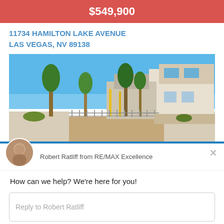$549,900
11734 HAMILTON LAKE AVENUE
LAS VEGAS, NV 89138
[Figure (photo): Exterior photo of modern two-story stucco home with desert landscaping, trees, and blue sky in Las Vegas]
Robert Ratliff from RE/MAX Excellence
How can we help? We're here for you!
Reply to Robert Ratliff
Chat ⚡ by Drift